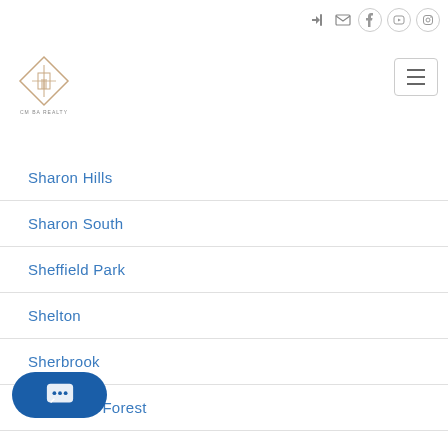Navigation header with social icons and logo
Sharon Hills
Sharon South
Sheffield Park
Shelton
Sherbrook
Sherwood Forest
...int
Silverstone